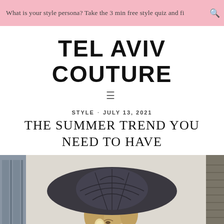What is your style persona? Take the 3 min free style quiz and fi
TEL AVIV COUTURE
≡
STYLE · JULY 13, 2021
THE SUMMER TREND YOU NEED TO HAVE
[Figure (photo): Woman wearing a large wide-brim dark woven hat with statement earrings, looking up and smiling, against a light background with window blinds visible on sides]